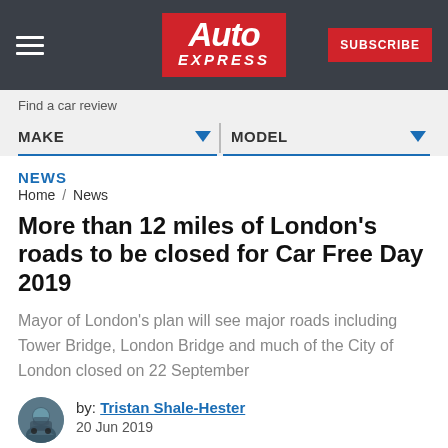Auto Express — SUBSCRIBE
Find a car review
MAKE   MODEL
NEWS
Home / News
More than 12 miles of London's roads to be closed for Car Free Day 2019
Mayor of London's plan will see major roads including Tower Bridge, London Bridge and much of the City of London closed on 22 September
by: Tristan Shale-Hester
20 Jun 2019